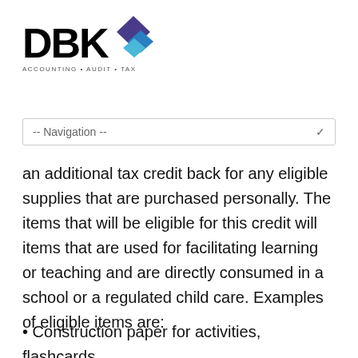[Figure (logo): DBK Accounting Audit Tax logo with diamond/rhombus graphic in blue and purple tones]
-- Navigation --
an additional tax credit back for any eligible supplies that are purchased personally. The items that will be eligible for this credit will items that are used for facilitating learning or teaching and are directly consumed in a school or a regulated child care. Examples of eligible items are:
Construction paper for activities, flashcards